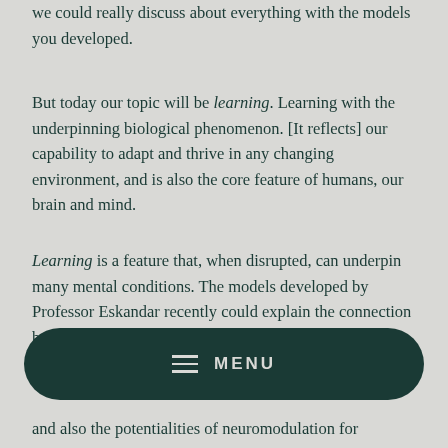we could really discuss about everything with the models you developed.
But today our topic will be learning. Learning with the underpinning biological phenomenon. [It reflects] our capability to adapt and thrive in any changing environment, and is also the core feature of humans, our brain and mind.
Learning is a feature that, when disrupted, can underpin many mental conditions. The models developed by Professor Eskandar recently could explain the connection between disrupted learning and addiction.
[Figure (other): Dark teal rounded rectangle menu bar with hamburger icon and MENU text in light grey]
and also the potentialities of neuromodulation for